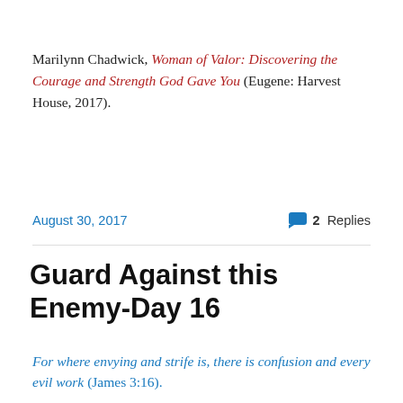Marilynn Chadwick, Woman of Valor: Discovering the Courage and Strength God Gave You (Eugene: Harvest House, 2017).
August 30, 2017   💬 2 Replies
Guard Against this Enemy-Day 16
For where envying and strife is, there is confusion and every evil work (James 3:16).